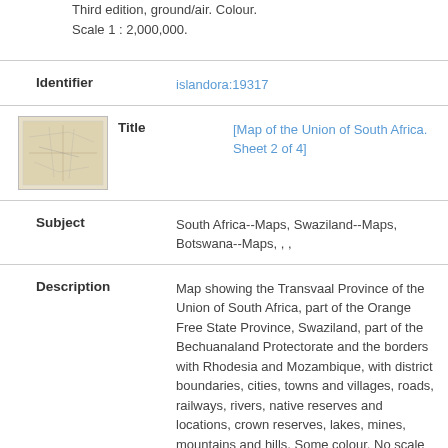Third edition, ground/air. Colour. Scale 1 : 2,000,000.
Identifier
islandora:19317
[Figure (map): Thumbnail of a historical map of the Union of South Africa]
Title
[Map of the Union of South Africa. Sheet 2 of 4]
Subject
South Africa--Maps, Swaziland--Maps, Botswana--Maps, , ,
Description
Map showing the Transvaal Province of the Union of South Africa, part of the Orange Free State Province, Swaziland, part of the Bechuanaland Protectorate and the borders with Rhodesia and Mozambique, with district boundaries, cities, towns and villages, roads, railways, rivers, native reserves and locations, crown reserves, lakes, mines, mountains and hills. Some colour. No scale